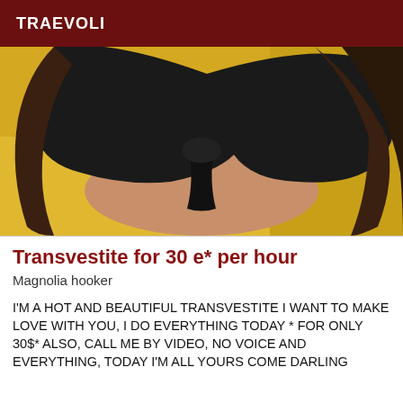TRAEVOLI
[Figure (photo): Close-up photo of a person wearing a black tied crop top and a yellow outfit, shown from neck to waist against a yellow background.]
Transvestite for 30 e* per hour
Magnolia hooker
I'M A HOT AND BEAUTIFUL TRANSVESTITE I WANT TO MAKE LOVE WITH YOU, I DO EVERYTHING TODAY * FOR ONLY 30$* ALSO, CALL ME BY VIDEO, NO VOICE AND EVERYTHING, TODAY I'M ALL YOURS COME DARLING